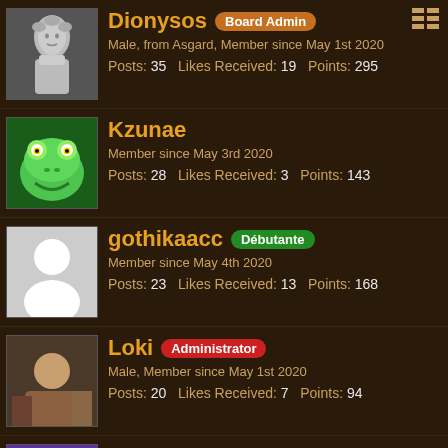Dionysos | Board Admin | Male, from Asgard, Member since May 1st 2020 | Posts: 35 Likes Received: 19 Points: 295
Kzunae | Member since May 3rd 2020 | Posts: 28 Likes Received: 3 Points: 143
gothikaacc | Débutante | Member since May 4th 2020 | Posts: 23 Likes Received: 13 Points: 168
Loki | Administrator | Male, Member since May 1st 2020 | Posts: 20 Likes Received: 7 Points: 94
Shaka | Débutante | Female, 27, from Chunjo, Member since May 2nd 2020 | Posts: 16 Likes Received: 5 Points: 105
Cactus | Board Admin | Member since Aug 30th 2020 | Posts: 8 Likes Received: 22 Points: 97
Mundo | from Ch'ti chunjo, Member since Jul 13th 2020